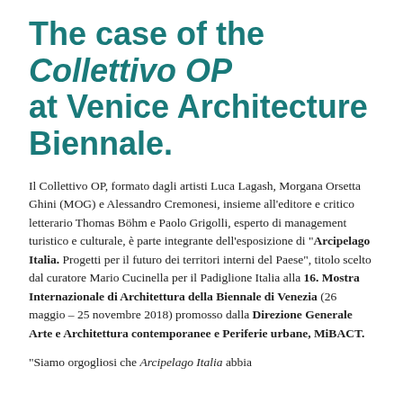The case of the Collettivo OP at Venice Architecture Biennale.
Il Collettivo OP, formato dagli artisti Luca Lagash, Morgana Orsetta Ghini (MOG) e Alessandro Cremonesi, insieme all'editore e critico letterario Thomas Böhm e Paolo Grigolli, esperto di management turistico e culturale, è parte integrante dell'esposizione di "Arcipelago Italia. Progetti per il futuro dei territori interni del Paese", titolo scelto dal curatore Mario Cucinella per il Padiglione Italia alla 16. Mostra Internazionale di Architettura della Biennale di Venezia (26 maggio – 25 novembre 2018) promosso dalla Direzione Generale Arte e Architettura contemporanee e Periferie urbane, MiBACT.
"Siamo orgogliosi che Arcipelago Italia abbia